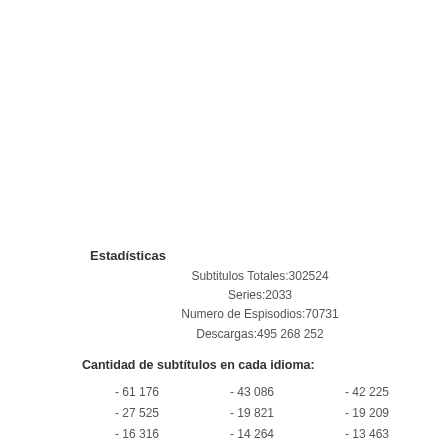Estadísticas
Subtitulos Totales:302524
Series:2033
Numero de Espisodios:70731
Descargas:495 268 252
Cantidad de subtítulos en cada idioma:
| - 61 176 | - 43 086 | - 42 225 |
| - 27 525 | - 19 821 | - 19 209 |
| - 16 316 | - 14 264 | - 13 463 |
| - 12 968 | - 7 471 | - 5 909 |
| - 5 414 | - 4 364 | - 3 835 |
| - 2 104 | - 1 168 | - 736 |